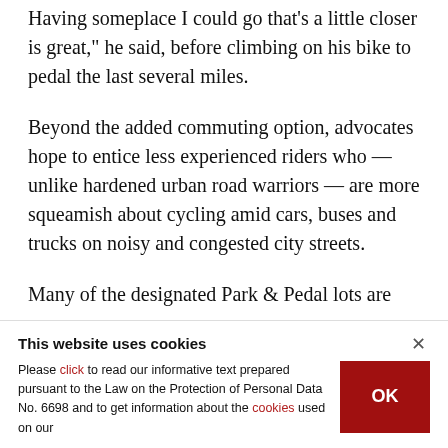Having someplace I could go that's a little closer is great," he said, before climbing on his bike to pedal the last several miles.
Beyond the added commuting option, advocates hope to entice less experienced riders who — unlike hardened urban road warriors — are more squeamish about cycling amid cars, buses and trucks on noisy and congested city streets.
Many of the designated Park & Pedal lots are
This website uses cookies
Please click to read our informative text prepared pursuant to the Law on the Protection of Personal Data No. 6698 and to get information about the cookies used on our